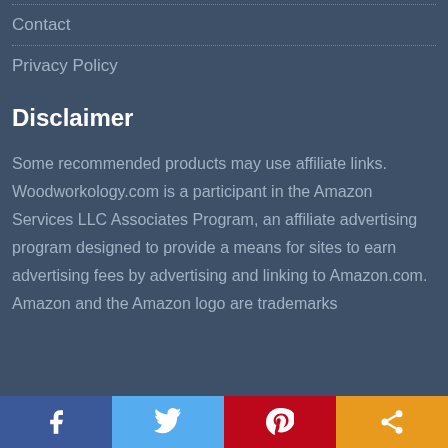Contact
Privacy Policy
Disclaimer
Some recommended products may use affiliate links. Woodworkology.com is a participant in the Amazon Services LLC Associates Program, an affiliate advertising program designed to provide a means for sites to earn advertising fees by advertising and linking to Amazon.com. Amazon and the Amazon logo are trademarks
Social sharing bar: Facebook, Twitter, Pinterest, Share